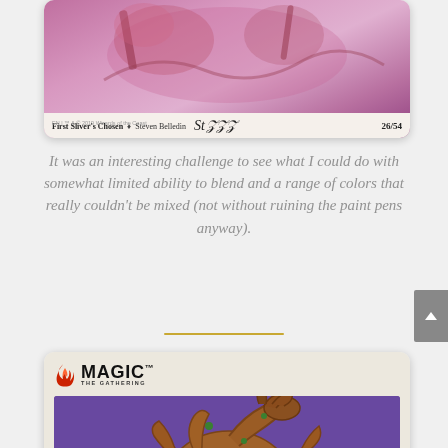[Figure (photo): Magic: The Gathering card art showing 'First Sliver's Chosen' by Steven Belledin, numbered 26/54, with a pink/purple creature illustration. Card footer shows artist name, signature, and copyright.]
It was an interesting challenge to see what I could do with somewhat limited ability to blend and a range of colors that really couldn't be mixed (not without ruining the paint pens anyway).
[Figure (photo): Magic: The Gathering card showing a large brown/copper colored creature (sliver-like) on a purple background, with the Magic: The Gathering logo at top left including the iconic red flame symbol.]